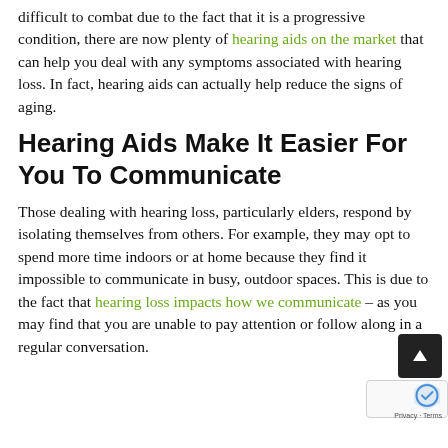difficult to combat due to the fact that it is a progressive condition, there are now plenty of hearing aids on the market that can help you deal with any symptoms associated with hearing loss. In fact, hearing aids can actually help reduce the signs of aging.
Hearing Aids Make It Easier For You To Communicate
Those dealing with hearing loss, particularly elders, respond by isolating themselves from others. For example, they may opt to spend more time indoors or at home because they find it impossible to communicate in busy, outdoor spaces. This is due to the fact that hearing loss impacts how we communicate – as you may find that you are unable to pay attention or follow along in a regular conversation.